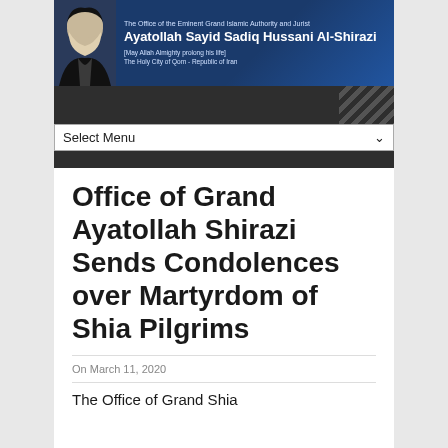[Figure (other): Website banner for the Office of Grand Islamic Authority Ayatollah Sayid Sadiq Hussani Al-Shirazi, featuring a portrait of a bearded cleric on a dark blue background with text.]
[Figure (other): Dark navigation bar with diagonal white stripe pattern on the right side.]
Select Menu
Office of Grand Ayatollah Shirazi Sends Condolences over Martyrdom of Shia Pilgrims
On March 11, 2020
The Office of Grand Shia…